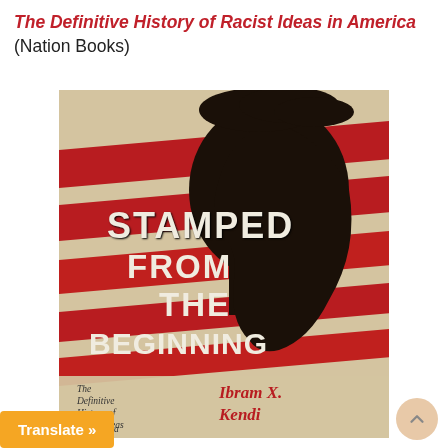The Definitive History of Racist Ideas in America (Nation Books)
[Figure (illustration): Book cover of 'Stamped from the Beginning: The Definitive History of Racist Ideas in America' by Ibram X. Kendi (Nation Books). Features a black silhouette of a person's head in profile overlaid with diagonal red brush strokes reminiscent of an American flag. Large white distressed text reads 'STAMPED FROM THE BEGINNING'. Bottom portion shows subtitle text 'The Definitive History of Racist Ideas in America' and author name 'Ibram X. Kendi' in red on a tan/beige background.]